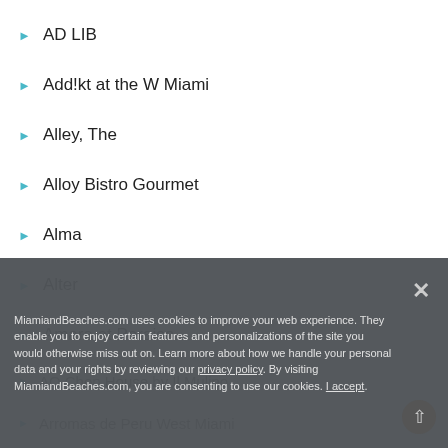AD LIB
Add!kt at the W Miami
Alley, The
Alloy Bistro Gourmet
Alma
Alter
Amara at Paraiso
American Social
Amore Restaurant & Bar
Anacapri Italian Restaurant & Wine Bar – Pinecrest
AQ Chop House by Il Mulino
Ariete
Arromas de Peru West Miami
Artisan Beach House
MiamiandBeaches.com uses cookies to improve your web experience. They enable you to enjoy certain features and personalizations of the site you would otherwise miss out on. Learn more about how we handle your personal data and your rights by reviewing our privacy policy. By visiting MiamiandBeaches.com, you are consenting to use our cookies. I accept.